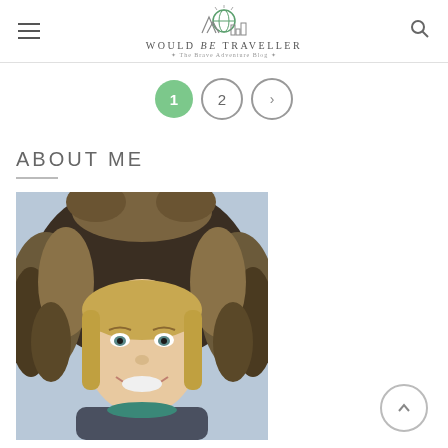WOULD BE TRAVELLER - The Brave Adventure Blog
Pagination: 1 (active), 2, next arrow
ABOUT ME
[Figure (photo): Close-up portrait of a smiling blonde woman wearing a fur-lined hood jacket, looking directly at the camera]